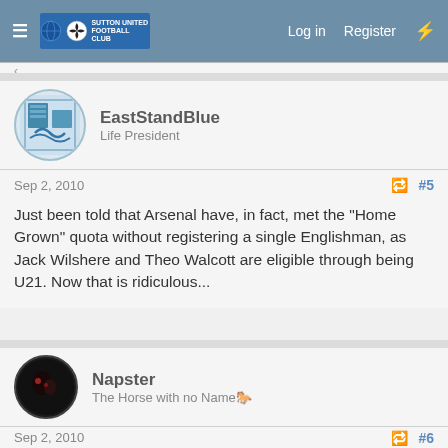Log in  Register
EastStandBlue
Life President
Sep 2, 2010  #5
Just been told that Arsenal have, in fact, met the "Home Grown" quota without registering a single Englishman, as Jack Wilshere and Theo Walcott are eligible through being U21. Now that is ridiculous...
Napster
The Horse with no Name🐎
Sep 2, 2010  #6
I did wonder why Man Utd signed bebe.
Yorkshire Blue
Super Moderator🐎  Staff member
Sep 2, 2010  #7